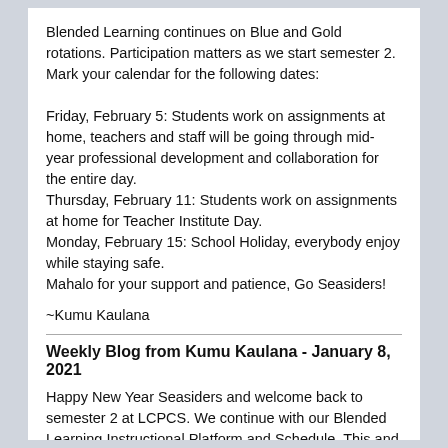Blended Learning continues on Blue and Gold rotations. Participation matters as we start semester 2. Mark your calendar for the following dates:

Friday, February 5: Students work on assignments at home, teachers and staff will be going through mid-year professional development and collaboration for the entire day.
Thursday, February 11: Students work on assignments at home for Teacher Institute Day.
Monday, February 15: School Holiday, everybody enjoy while staying safe.
Mahalo for your support and patience, Go Seasiders!
~Kumu Kaulana
Weekly Blog from Kumu Kaulana - January 8, 2021
Happy New Year Seasiders and welcome back to semester 2 at LCPCS. We continue with our Blended Learning Instructional Platform and Schedule. This and next week we will assess for learning with MAP testing. We are so grateful of the growth of our school community, mahalo nui loa.